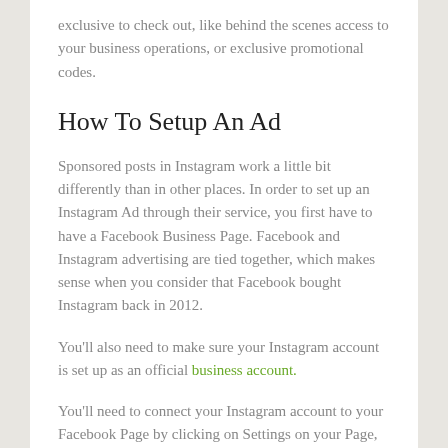exclusive to check out, like behind the scenes access to your business operations, or exclusive promotional codes.
How To Setup An Ad
Sponsored posts in Instagram work a little bit differently than in other places. In order to set up an Instagram Ad through their service, you first have to have a Facebook Business Page. Facebook and Instagram advertising are tied together, which makes sense when you consider that Facebook bought Instagram back in 2012.
You'll also need to make sure your Instagram account is set up as an official business account.
You'll need to connect your Instagram account to your Facebook Page by clicking on Settings on your Page, and then going to the tab that says Instagram Ads on the left